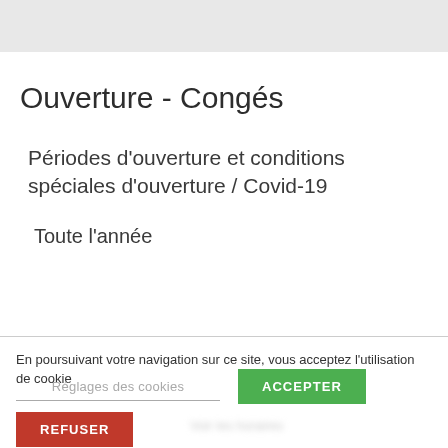[Figure (screenshot): Gray header bar at top of page]
Ouverture - Congés
Périodes d'ouverture et conditions spéciales d'ouverture / Covid-19
Toute l'année
En poursuivant votre navigation sur ce site, vous acceptez l'utilisation de cookie
Réglages des cookies
ACCEPTER
REFUSER